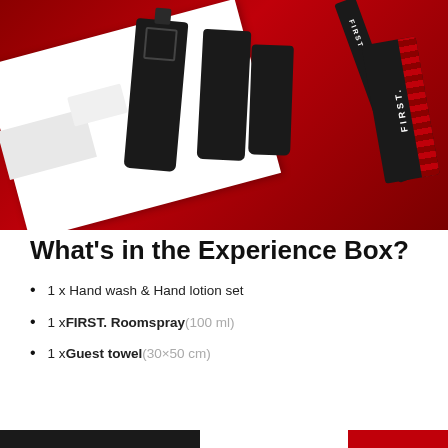[Figure (photo): Product photo showing black premium hand wash and lotion bottles, a FIRST. room spray bottle, and a black FIRST. branded tag/label, all arranged on a deep red background with a white box/packaging.]
What's in the Experience Box?
1 x Hand wash & Hand lotion set
1 x FIRST. Roomspray (100 ml)
1 x Guest towel (30×50 cm)